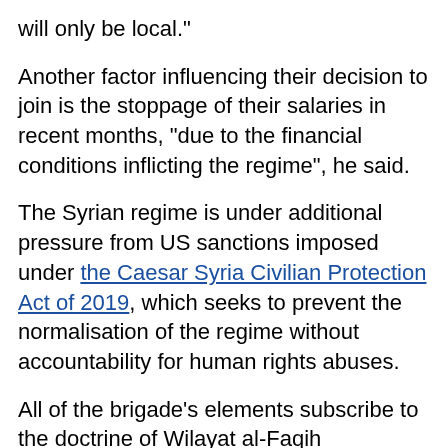will only be local."
Another factor influencing their decision to join is the stoppage of their salaries in recent months, "due to the financial conditions inflicting the regime", he said.
The Syrian regime is under additional pressure from US sanctions imposed under the Caesar Syria Civilian Protection Act of 2019, which seeks to prevent the normalisation of the regime without accountability for human rights abuses.
All of the brigade's elements subscribe to the doctrine of Wilayat al-Faqih (Guardianship of the Jurist), which calls for allegiance to Iran's supreme leader Ali Khamenei, al-Ali said.